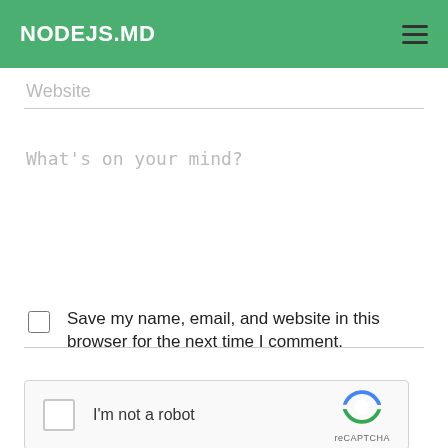NODEJS.MD
Website
What's on your mind?
Save my name, email, and website in this browser for the next time I comment.
[Figure (screenshot): reCAPTCHA widget with checkbox labeled 'I'm not a robot' and reCAPTCHA logo]